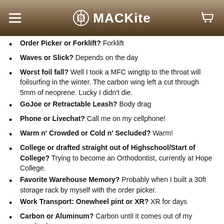MACKite
Order Picker or Forklift? Forklift
Waves or Slick? Depends on the day
Worst foil fall? Well I took a MFC wingtip to the throat will foilsurfing in the winter. The carbon wing left a cut through 5mm of neoprene. Lucky I didn't die.
GoJoe or Retractable Leash? Body drag
Phone or Livechat? Call me on my cellphone!
Warm n' Crowded or Cold n' Secluded? Warm!
College or drafted straight out of Highschool/Start of College? Trying to become an Orthodontist, currently at Hope College.
Favorite Warehouse Memory? Probably when I built a 30ft storage rack by myself with the order picker.
Work Transport: Onewheel pint or XR? XR for days
Carbon or Aluminum? Carbon until it comes out of my paycheck
Rope Slider or Hook? Hook